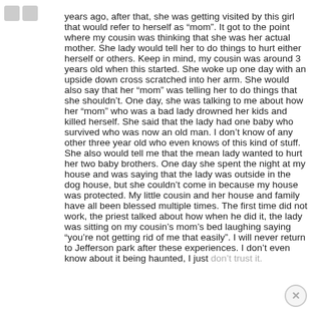years ago, after that, she was getting visited by this girl that would refer to herself as “mom”. It got to the point where my cousin was thinking that she was her actual mother. She lady would tell her to do things to hurt either herself or others. Keep in mind, my cousin was around 3 years old when this started. She woke up one day with an upside down cross scratched into her arm. She would also say that her “mom” was telling her to do things that she shouldn’t. One day, she was talking to me about how her “mom” who was a bad lady drowned her kids and killed herself. She said that the lady had one baby who survived who was now an old man. I don’t know of any other three year old who even knows of this kind of stuff. She also would tell me that the mean lady wanted to hurt her two baby brothers. One day she spent the night at my house and was saying that the lady was outside in the dog house, but she couldn’t come in because my house was protected. My little cousin and her house and family have all been blessed multiple times. The first time did not work, the priest talked about how when he did it, the lady was sitting on my cousin’s mom’s bed laughing saying “you’re not getting rid of me that easily”. I will never return to Jefferson park after these experiences. I don’t even know about it being haunted, I just don’t trust it.